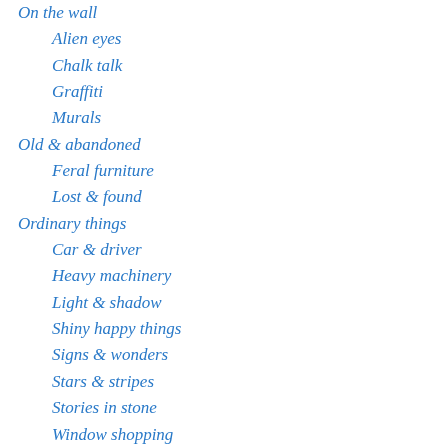On the wall
Alien eyes
Chalk talk
Graffiti
Murals
Old & abandoned
Feral furniture
Lost & found
Ordinary things
Car & driver
Heavy machinery
Light & shadow
Shiny happy things
Signs & wonders
Stars & stripes
Stories in stone
Window shopping
Photography
Photo Friday
Self & reflection